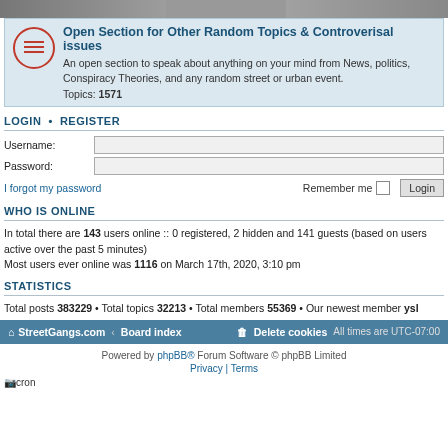[Figure (screenshot): Top banner image strip showing partial photo]
Open Section for Other Random Topics & Controverisal issues
An open section to speak about anything on your mind from News, politics, Conspiracy Theories, and any random street or urban event.
Topics: 1571
LOGIN • REGISTER
Username:
Password:
I forgot my password   Remember me  Login
WHO IS ONLINE
In total there are 143 users online :: 0 registered, 2 hidden and 141 guests (based on users active over the past 5 minutes)
Most users ever online was 1116 on March 17th, 2020, 3:10 pm
STATISTICS
Total posts 383229 • Total topics 32213 • Total members 55369 • Our newest member ysl
StreetGangs.com ‹ Board index   Delete cookies   All times are UTC-07:00
Powered by phpBB® Forum Software © phpBB Limited
Privacy | Terms
cron